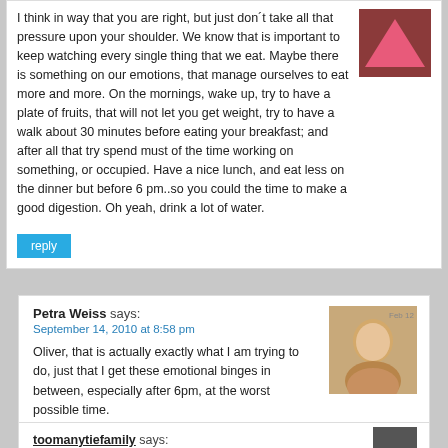I think in way that you are right, but just don´t take all that pressure upon your shoulder. We know that is important to keep watching every single thing that we eat. Maybe there is something on our emotions, that manage ourselves to eat more and more. On the mornings, wake up, try to have a plate of fruits, that will not let you get weight, try to have a walk about 30 minutes before eating your breakfast; and after all that try spend must of the time working on something, or occupied. Have a nice lunch, and eat less on the dinner but before 6 pm..so you could the time to make a good digestion. Oh yeah, drink a lot of water.
reply
Petra Weiss says:
September 14, 2010 at 8:58 pm
Oliver, that is actually exactly what I am trying to do, just that I get these emotional binges in between, especially after 6pm, at the worst possible time.
reply
toomanytiefamily says: